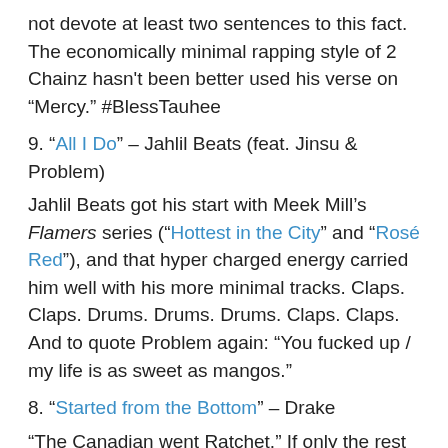not devote at least two sentences to this fact. The economically minimal rapping style of 2 Chainz hasn't been better used his verse on “Mercy.” #BlessTauhee
9. “All I Do” – Jahlil Beats (feat. Jinsu & Problem)
Jahlil Beats got his start with Meek Mill’s Flamers series (“Hottest in the City” and “Rosé Red”), and that hyper charged energy carried him well with his more minimal tracks. Claps. Claps. Drums. Drums. Drums. Claps. Claps. And to quote Problem again: “You fucked up / my life is as sweet as mangos.”
8. “Started from the Bottom” – Drake
“The Canadian went Ratchet.” If only the rest of Nothing Was the Same sounded like this, “Hold On We’re Going Home” or “Trophies.” He might have made a good album!